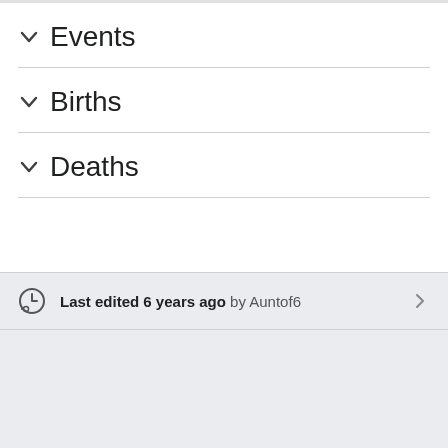Events
Births
Deaths
Last edited 6 years ago by Auntof6